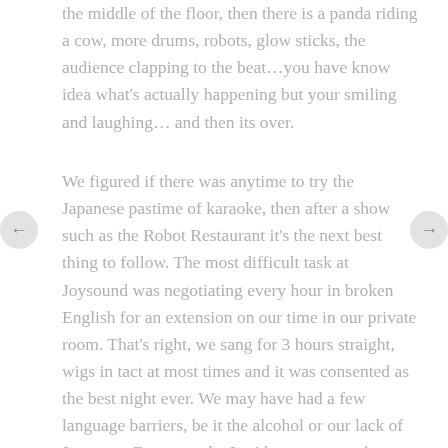the middle of the floor, then there is a panda riding a cow, more drums, robots, glow sticks, the audience clapping to the beat…you have know idea what's actually happening but your smiling and laughing… and then its over.
We figured if there was anytime to try the Japanese pastime of karaoke, then after a show such as the Robot Restaurant it's the next best thing to follow. The most difficult task at Joysound was negotiating every hour in broken English for an extension on our time in our private room. That's right, we sang for 3 hours straight, wigs in tact at most times and it was consented as the best night ever. We may have had a few language barriers, be it the alcohol or our lack of Japanese. For example, I said on repeat to the waiter, what felt like every five minutes, our order of